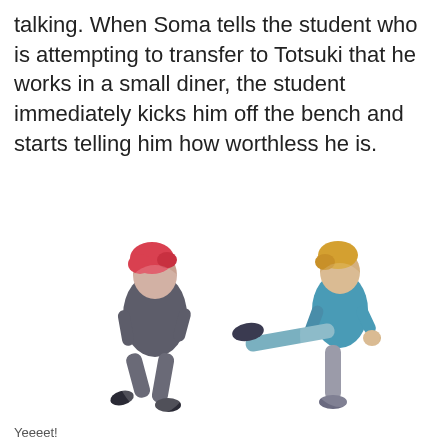talking. When Soma tells the student who is attempting to transfer to Totsuki that he works in a small diner, the student immediately kicks him off the bench and starts telling him how worthless he is.
[Figure (illustration): Anime-style illustration showing two characters: one on the left with red/pink hair wearing a dark hoodie being kicked, and one on the right with blonde hair wearing a teal/blue top and grey pants delivering a kick with one leg raised high.]
Yeeeet!